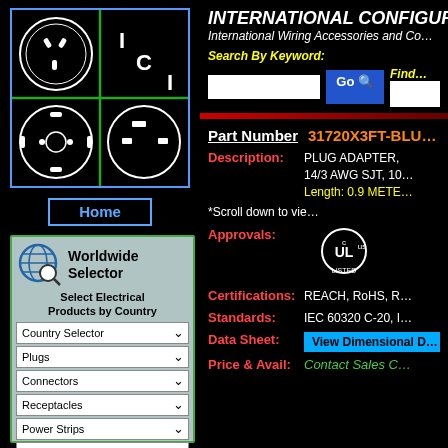[Figure (logo): ICI logo showing three electrical plug socket types in a grid with I, C, I letters and green cross dividers, in blue border box]
Home
[Figure (illustration): Worldwide Selector globe with magnifier icon and navigation sidebar with dropdowns for Country Selector, Plugs, Connectors, Receptacles, Power Strips, PDU Power Strips, Power Cords]
INTERNATIONAL CONFIGURAT...
International Wiring Accessories and Co...
Search By Keyword:
Find...
Part Number
31720X3FT-BLU...
Description:
PLUG ADAPTER, 14/3 AWG SJT, 10... Length: 0.9 METE...
*Scroll down to vie...
Approvals:
[Figure (logo): cULus Listed certification mark in white on black background]
Certifications:
REACH, RoHS, R...
Standards:
IEC 60320 C-20, I...
Data Sheet:
View Dimensional D...
Price & Avail:
Contact Sales C...